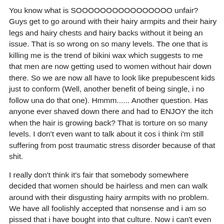You know what is SOOOOOOOOOOOOOOOO unfair? Guys get to go around with their hairy armpits and their hairy legs and hairy chests and hairy backs without it being an issue. That is so wrong on so many levels. The one that is killing me is the trend of bikini wax which suggests to me that men are now getting used to women without hair down there. So we are now all have to look like prepubescent kids just to conform (Well, another benefit of being single, i no follow una do that one). Hmmm...... Another question. Has anyone ever shaved down there and had to ENJOY the itch when the hair is growing back? That is torture on so many levels. I don't even want to talk about it cos i think i'm still suffering from post traumatic stress disorder because of that shit.
I really don't think it's fair that somebody somewhere decided that women should be hairless and men can walk around with their disgusting hairy armpits with no problem. We have all foolishly accepted that nonsense and i am so pissed that i have bought into that culture. Now i can't even stand to look at hair on my leg with wondering when i'll have time to shave. It's just plain stupid.